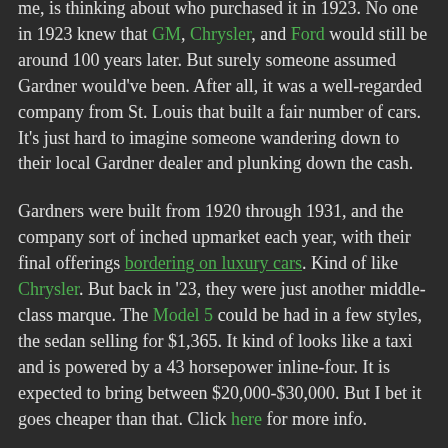The most interesting thing about this Gardner, to me, is thinking about who purchased it in 1923. No one in 1923 knew that GM, Chrysler, and Ford would still be around 100 years later. But surely someone assumed Gardner would've been. After all, it was a well-regarded company from St. Louis that built a fair number of cars. It's just hard to imagine someone wandering down to their local Gardner dealer and plunking down the cash.
Gardners were built from 1920 through 1931, and the company sort of inched upmarket each year, with their final offerings bordering on luxury cars. Kind of like Chrysler. But back in '23, they were just another middle-class marque. The Model 5 could be had in a few styles, the sedan selling for $1,365. It kind of looks like a taxi and is powered by a 43 horsepower inline-four. It is expected to bring between $20,000-$30,000. But I bet it goes cheaper than that. Click here for more info.
Update: Sold $13,200.